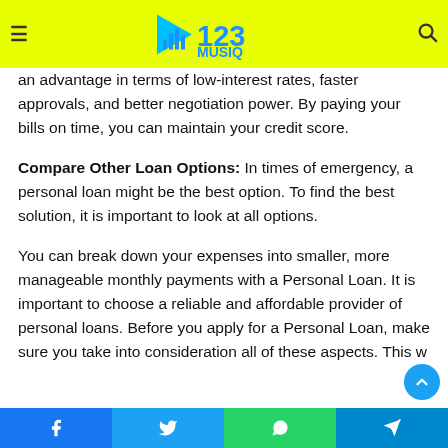123 MUSIQ – header with logo, hamburger menu, and search icon
lender reviews your credit report to determine your creditworthiness. A high score will give you an advantage in terms of low-interest rates, faster approvals, and better negotiation power. By paying your bills on time, you can maintain your credit score.
Compare Other Loan Options: In times of emergency, a personal loan might be the best option. To find the best solution, it is important to look at all options.
You can break down your expenses into smaller, more manageable monthly payments with a Personal Loan. It is important to choose a reliable and affordable provider of personal loans. Before you apply for a Personal Loan, make sure you take into consideration all of these aspects. This w
Facebook | Twitter | WhatsApp | Telegram